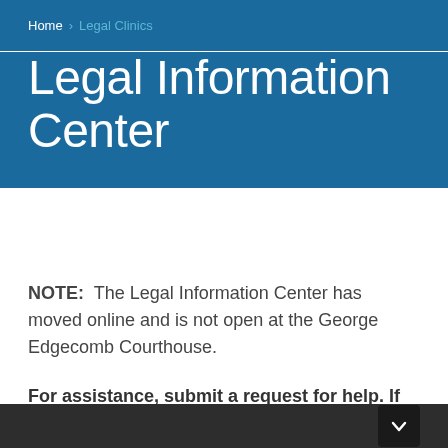Home > Legal Clinics
Legal Information Center
NOTE:  The Legal Information Center has moved online and is not open at the George Edgecomb Courthouse.
For assistance, submit a request for help. If you do not receive a response within one business day, please check your Junk/Spam folder before sending another request.